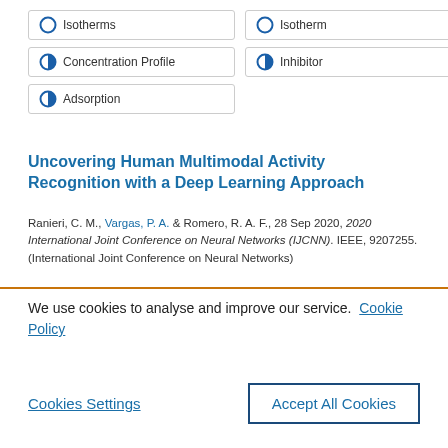[Figure (other): A set of filter/tag buttons with radio-style icons: 'Isotherms' (empty circle), 'Isotherm' (empty circle), 'Concentration Profile' (partially filled circle), 'Inhibitor' (partially filled circle), 'Adsorption' (partially filled circle)]
Uncovering Human Multimodal Activity Recognition with a Deep Learning Approach
Ranieri, C. M., Vargas, P. A. & Romero, R. A. F., 28 Sep 2020, 2020 International Joint Conference on Neural Networks (IJCNN). IEEE, 9207255. (International Joint Conference on Neural Networks)
We use cookies to analyse and improve our service.  Cookie Policy
Cookies Settings
Accept All Cookies